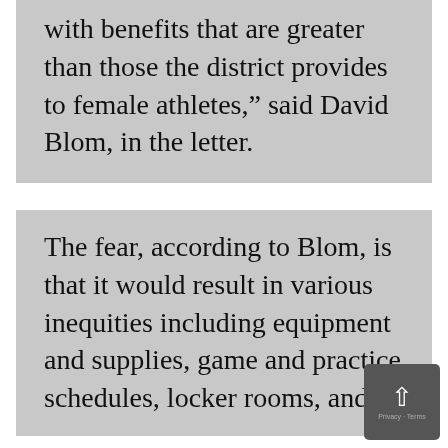with benefits that are greater than those the district provides to female athletes," said David Blom, in the letter.
The fear, according to Blom, is that it would result in various inequities including equipment and supplies, game and practice schedules, locker rooms, and